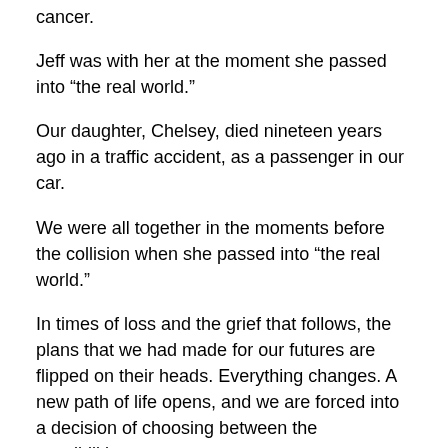cancer.
Jeff was with her at the moment she passed into “the real world.”
Our daughter, Chelsey, died nineteen years ago in a traffic accident, as a passenger in our car.
We were all together in the moments before the collision when she passed into “the real world.”
In times of loss and the grief that follows, the plans that we had made for our futures are flipped on their heads. Everything changes. A new path of life opens, and we are forced into a decision of choosing between the possibilities.
So, who are we without God?